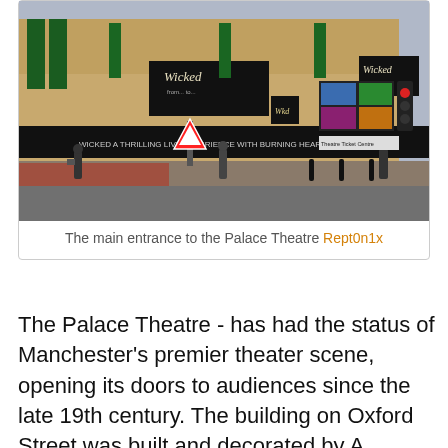[Figure (photo): Street-level photograph of the main entrance to the Palace Theatre in Manchester, showing the exterior facade with Wicked musical banners and signage, pedestrians and a traffic light visible on the street.]
The main entrance to the Palace Theatre Rept0n1x
The Palace Theatre - has had the status of Manchester's premier theater scene, opening its doors to audiences since the late 19th century. The building on Oxford Street was built and decorated by A. Darbyshire, who succeeded in creating a hall with stunning acoustics. The present size of the theater (capacity - up to 2.6 thousand people) acquired in the early 20th century. Theatergoers from all over the world come here, sometimes preferring Manchester to